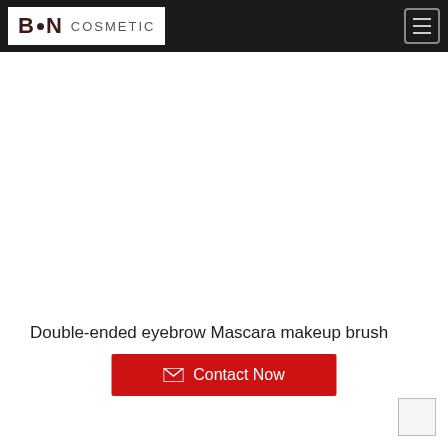B•N COSMETIC
[Figure (photo): Product image area — double-ended eyebrow mascara makeup brush (image not rendered, white space shown)]
Double-ended eyebrow Mascara makeup brush
Contact Now